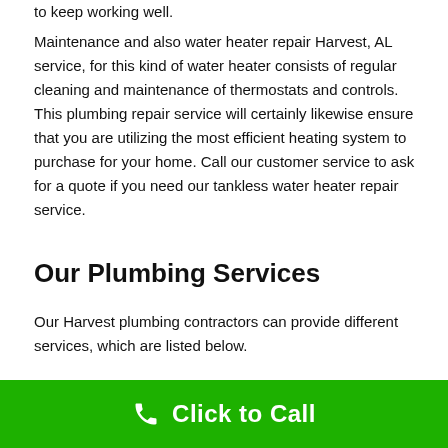to keep working well.
Maintenance and also water heater repair Harvest, AL service, for this kind of water heater consists of regular cleaning and maintenance of thermostats and controls. This plumbing repair service will certainly likewise ensure that you are utilizing the most efficient heating system to purchase for your home. Call our customer service to ask for a quote if you need our tankless water heater repair service.
Our Plumbing Services
Our Harvest plumbing contractors can provide different services, which are listed below.
Drain Cleaning
[Figure (other): Green 'Click to Call' button bar with phone icon]